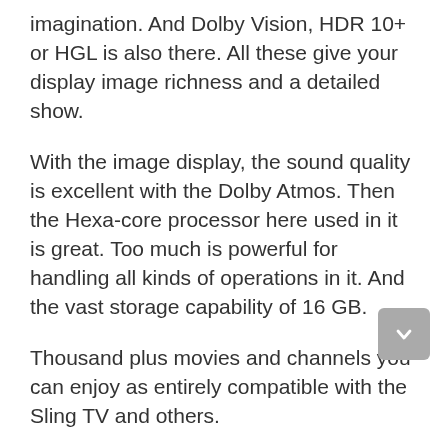imagination. And Dolby Vision, HDR 10+ or HGL is also there. All these give your display image richness and a detailed show.
With the image display, the sound quality is excellent with the Dolby Atmos. Then the Hexa-core processor here used in it is great. Too much is powerful for handling all kinds of operations in it. And the vast storage capability of 16 GB.
Thousand plus movies and channels you can enjoy as entirely compatible with the Sling TV and others.
Who is it for?
For those who want a hand-free controller.